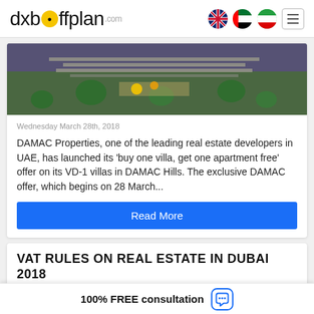dxboffplan.com
[Figure (photo): Aerial/overhead view of a real estate development with walkways, greenery, and outdoor seating areas]
Wednesday March 28th, 2018
DAMAC Properties, one of the leading real estate developers in UAE, has launched its 'buy one villa, get one apartment free' offer on its VD-1 villas in DAMAC Hills. The exclusive DAMAC offer, which begins on 28 March...
Read More
VAT RULES ON REAL ESTATE IN DUBAI 2018
100% FREE consultation